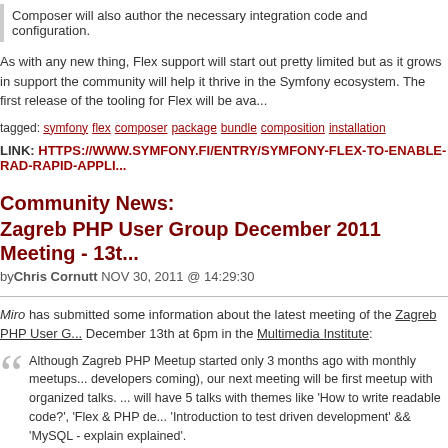Composer will also author the necessary integration code and configuration.
As with any new thing, Flex support will start out pretty limited but as it grows in support the community will help it thrive in the Symfony ecosystem. The first release of the tooling for Flex will be ava...
tagged: symfony flex composer package bundle composition installation
LINK: HTTPS://WWW.SYMFONY.FI/ENTRY/SYMFONY-FLEX-TO-ENABLE-RAD-RAPID-APPLI...
Community News:
Zagreb PHP User Group December 2011 Meeting - 13t...
byChris Cornutt NOV 30, 2011 @ 14:29:30
Miro has submitted some information about the latest meeting of the Zagreb PHP User G... December 13th at 6pm in the Multimedia Institute:
Although Zagreb PHP Meetup started only 3 months ago with monthly meetups... developers coming), our next meeting will be first meetup with organized talks. ... will have 5 talks with themes like 'How to write readable code?', 'Flex & PHP de... 'Introduction to test driven development' && 'MySQL - explain explained'. We would like to invite all interested PHP and non-PHP developers that would l... of best Croatian PHP devs (and understand Croatian language) to come on De... 6PM to Mama, Preradoviceva 18 in Zagreb. Unfortunately we are limited with n...